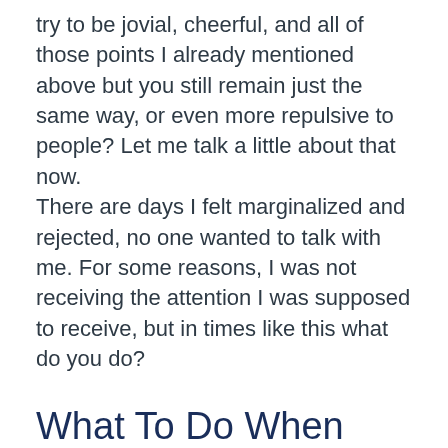try to be jovial, cheerful, and all of those points I already mentioned above but you still remain just the same way, or even more repulsive to people? Let me talk a little about that now.
There are days I felt marginalized and rejected, no one wanted to talk with me. For some reasons, I was not receiving the attention I was supposed to receive, but in times like this what do you do?
What To Do When You Are Not Magnetic Even After